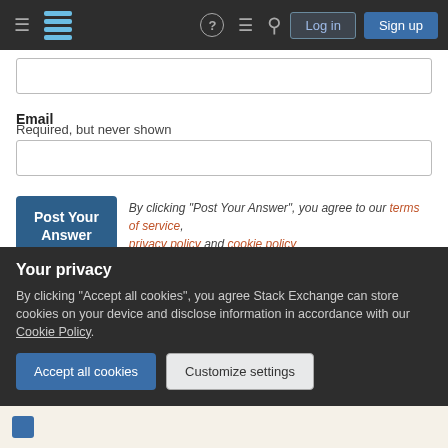Stack Exchange navigation bar with Log in and Sign up buttons
Email
Required, but never shown
Post Your Answer — By clicking "Post Your Answer", you agree to our terms of service, privacy policy and cookie policy
Not the answer you're looking for? Browse other questions
Your privacy
By clicking "Accept all cookies", you agree Stack Exchange can store cookies on your device and disclose information in accordance with our Cookie Policy.
Accept all cookies | Customize settings